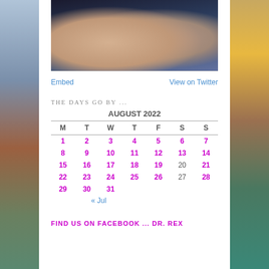[Figure (photo): Two women posing together in a selfie photo, dark background]
Embed
View on Twitter
THE DAYS GO BY ...
| M | T | W | T | F | S | S |
| --- | --- | --- | --- | --- | --- | --- |
| 1 | 2 | 3 | 4 | 5 | 6 | 7 |
| 8 | 9 | 10 | 11 | 12 | 13 | 14 |
| 15 | 16 | 17 | 18 | 19 | 20 | 21 |
| 22 | 23 | 24 | 25 | 26 | 27 | 28 |
| 29 | 30 | 31 |  |  |  |  |
« Jul
FIND US ON FACEBOOK ... DR. REX